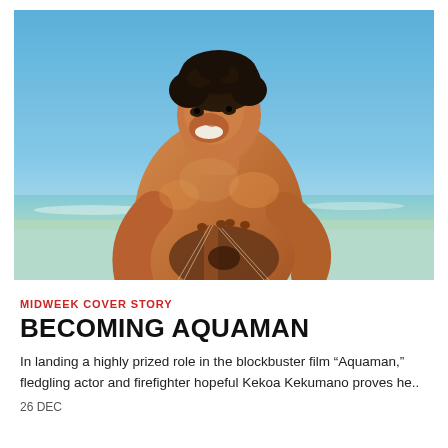[Figure (photo): Shirtless young man with curly dark hair smiling, playing a ukulele on a beach with clear blue sky and ocean in background]
MIDWEEK COVER STORY
BECOMING AQUAMAN
In landing a highly prized role in the blockbuster film “Aquaman,” fledgling actor and firefighter hopeful Kekoa Kekumano proves he..
26 DEC